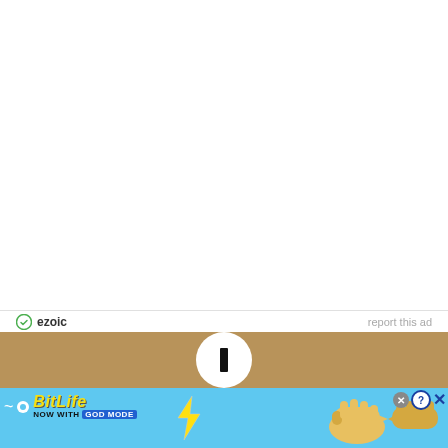[Figure (other): White empty advertisement area placeholder]
ezoic   report this ad
[Figure (infographic): BitLife ad banner with 'NOW WITH GOD MODE' text on light blue background, with pointing hand graphics and lightning bolt, close/help buttons in corner]